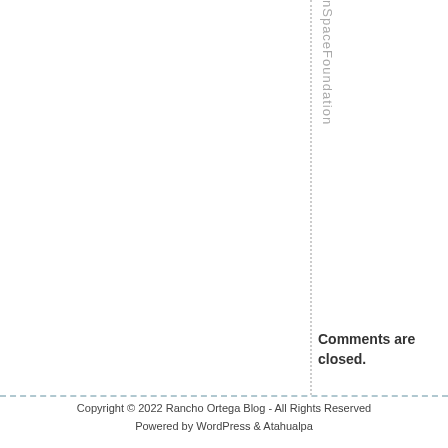nSpaceFoundation
Comments are closed.
Copyright © 2022 Rancho Ortega Blog - All Rights Reserved
Powered by WordPress & Atahualpa